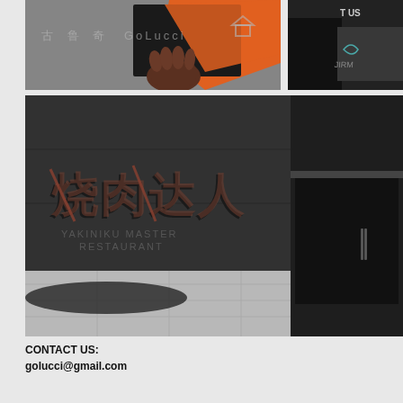[Figure (photo): A hand holding a black and orange framed artwork or book against a gray background, with Chinese text and 'GoLucci' watermark overlay]
[Figure (photo): Dark scene with a person wearing black jacket, partially visible, with graffiti wall in the background and 'CONTACT US' text partially visible]
[Figure (photo): Dark exterior wall of a restaurant with embossed Chinese characters '烧肉达人' and subtitle 'YAKINIKU MASTER RESTAURANT', dark entry doors visible to the right]
CONTACT US:
golucci@gmail.com